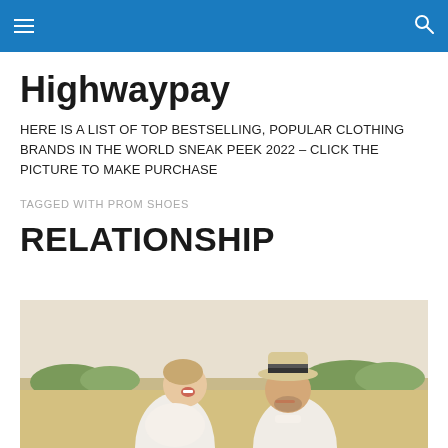Highwaypay — navigation header with hamburger menu and search icon
Highwaypay
HERE IS A LIST OF TOP BESTSELLING, POPULAR CLOTHING BRANDS IN THE WORLD SNEAK PEEK 2022 – CLICK THE PICTURE TO MAKE PURCHASE
TAGGED WITH PROM SHOES
RELATIONSHIP
[Figure (photo): A laughing couple outdoors in a sunny field; woman in white lace top with head back laughing, man in striped hat smiling]